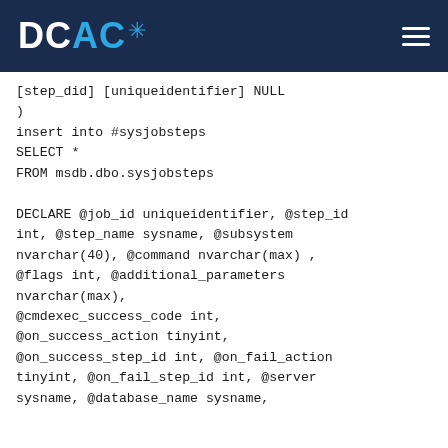DCAC
[step_did] [uniqueidentifier] NULL
)
insert into #sysjobsteps
SELECT *
FROM msdb.dbo.sysjobsteps

DECLARE @job_id uniqueidentifier, @step_id int, @step_name sysname, @subsystem nvarchar(40), @command nvarchar(max) , @flags int, @additional_parameters nvarchar(max),
@cmdexec_success_code int,
@on_success_action tinyint,
@on_success_step_id int, @on_fail_action tinyint, @on_fail_step_id int, @server sysname, @database_name sysname,